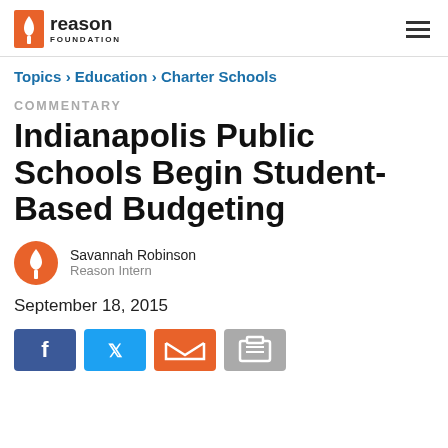Reason Foundation
Topics › Education › Charter Schools
COMMENTARY
Indianapolis Public Schools Begin Student-Based Budgeting
Savannah Robinson
Reason Intern
September 18, 2015